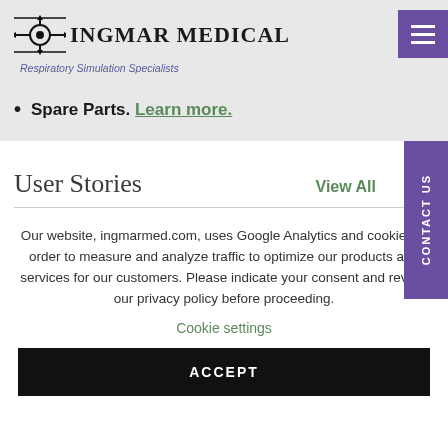[Figure (logo): IngMar Medical logo with crosshair/compass icon and text 'IngMar Medical - Respiratory Simulation Specialists']
Spare Parts. Learn more.
User Stories
View All
Our website, ingmarmed.com, uses Google Analytics and cookies in order to measure and analyze traffic to optimize our products and services for our customers. Please indicate your consent and review our privacy policy before proceeding.
Cookie settings
ACCEPT